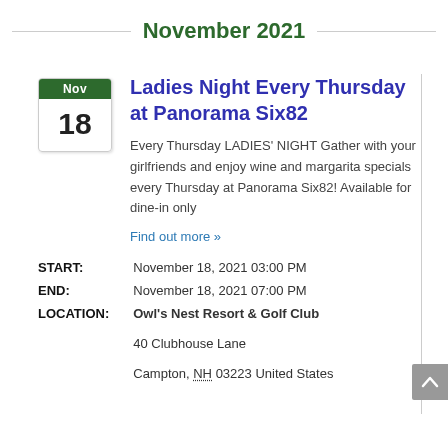November 2021
Ladies Night Every Thursday at Panorama Six82
Every Thursday LADIES' NIGHT Gather with your girlfriends and enjoy wine and margarita specials every Thursday at Panorama Six82! Available for dine-in only
Find out more »
START: November 18, 2021 03:00 PM
END: November 18, 2021 07:00 PM
LOCATION: Owl's Nest Resort & Golf Club, 40 Clubhouse Lane, Campton, NH 03223 United States